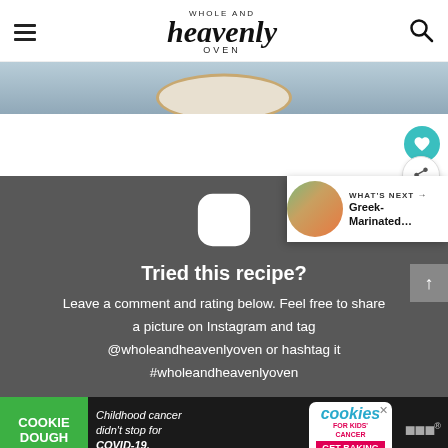Whole and Heavenly Oven — site header with hamburger menu and search icon
[Figure (photo): Partial food photo showing a decorative plate with what appears to be a creamy dip or sauce on a grey surface]
[Figure (infographic): Dark grey Instagram call-to-action section with Instagram icon, heading 'Tried this recipe?', and text prompting users to leave a comment and tag @wholeandheavenlyoven or use hashtag #wholeandheavenlyoven]
[Figure (screenshot): What's Next overlay showing a food thumbnail and text 'Greek-Marinated...']
[Figure (infographic): Cookie Dough cookie recipe ad bar at the bottom: 'Childhood cancer didn't stop for COVID-19. Get Baking.']